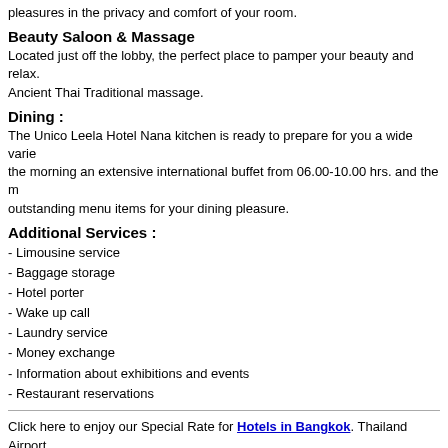pleasures in the privacy and comfort of your room.
Beauty Saloon & Massage
Located just off the lobby, the perfect place to pamper your beauty and relax. Ancient Thai Traditional massage.
Dining :
The Unico Leela Hotel Nana kitchen is ready to prepare for you a wide variety... the morning an extensive international buffet from 06.00-10.00 hrs. and the outstanding menu items for your dining pleasure.
Additional Services :
- Limousine service
- Baggage storage
- Hotel porter
- Wake up call
- Laundry service
- Money exchange
- Information about exhibitions and events
- Restaurant reservations
Click here to enjoy our Special Rate for Hotels in Bangkok. Thailand Airport available. Please click here To get directions to the hotel's map and to print c
Your useful information when you travel Thailand, We provide Thailand tra find Thailand travel guides & discount rates for Thailand Hotels
WE LOVE GOOGLE